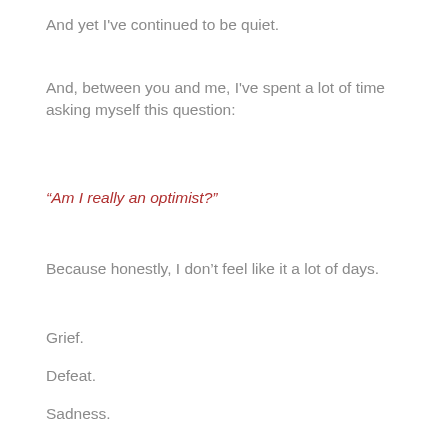And yet I've continued to be quiet.
And, between you and me, I've spent a lot of time asking myself this question:
“Am I really an optimist?”
Because honestly, I don’t feel like it a lot of days.
Grief.
Defeat.
Sadness.
Fear.
Worry.
Stress.
Guilt.